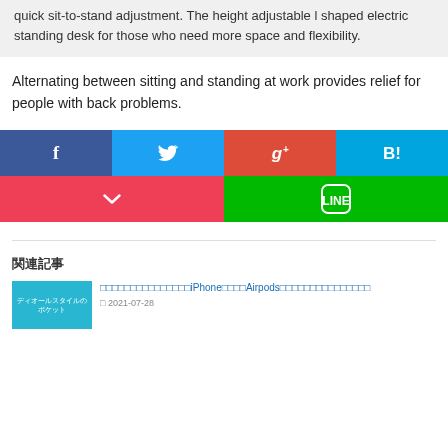quick sit-to-stand adjustment. The height adjustable l shaped electric standing desk for those who need more space and flexibility.
Alternating between sitting and standing at work provides relief for people with back problems.
[Figure (infographic): Social share buttons: Facebook, Twitter, Google+, Hatena Bookmark, Pocket, LINE]
関連記事
ディオールスタイルのポケット　[Japanese title with iPhone and Airpods]　2021-07-28